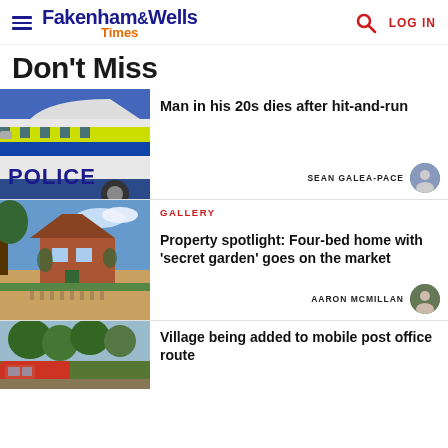Fakenham & Wells Times — LOG IN
Don't Miss
[Figure (photo): Close-up of a British police car with yellow and blue checkered markings and the word POLICE on the side]
Man in his 20s dies after hit-and-run
SEAN GALEA-PACE
[Figure (photo): Detached brick house with garden and blue sky]
GALLERY
Property spotlight: Four-bed home with 'secret garden' goes on the market
AARON MCMILLAN
[Figure (photo): Trees and a red vehicle partially visible]
Village being added to mobile post office route